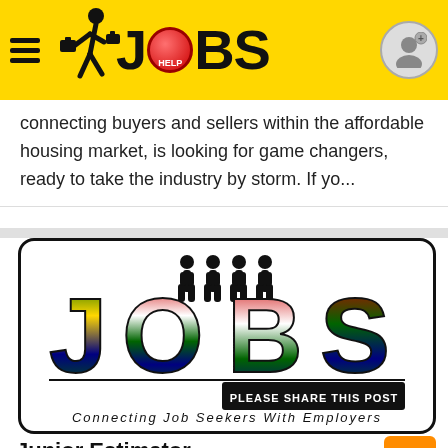JOBS Help - Job listing website header
connecting buyers and sellers within the affordable housing market, is looking for game changers, ready to take the industry by storm. If yo...
[Figure (logo): JOBS South Africa logo - 'JOBS' text with South African flag colors filling the letters, silhouettes of four businesspeople standing on top of the letters, and a banner reading 'PLEASE SHARE THIS POST', with tagline 'Connecting Job Seekers With Employers']
Junior Estimator
Job Mail - 1604352645
Manufacturing company based in Benoni seeks Junior Estimator